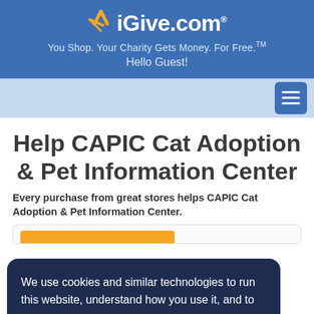iGive.com® — You Shop. Your Charity Gets Money. For Free.™ — Hello Guest!
Help CAPIC Cat Adoption & Pet Information Center
Every purchase from great stores helps CAPIC Cat Adoption & Pet Information Center.
We use cookies and similar technologies to run this website, understand how you use it, and to